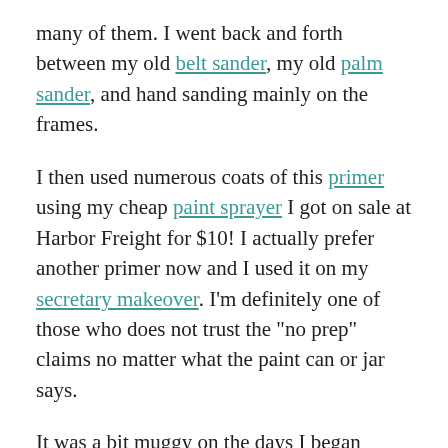many of them. I went back and forth between my old belt sander, my old palm sander, and hand sanding mainly on the frames.
I then used numerous coats of this primer using my cheap paint sprayer I got on sale at Harbor Freight for $10! I actually prefer another primer now and I used it on my secretary makeover. I'm definitely one of those who does not trust the "no prep" claims no matter what the paint can or jar says.
It was a bit muggy on the days I began priming and it took quite a while for the paint to just dry. A few days into the process, I nicked a small spot and the paint peeled looking like what a price tag looks like when you try remove it and it becomes a little blob of a mess.